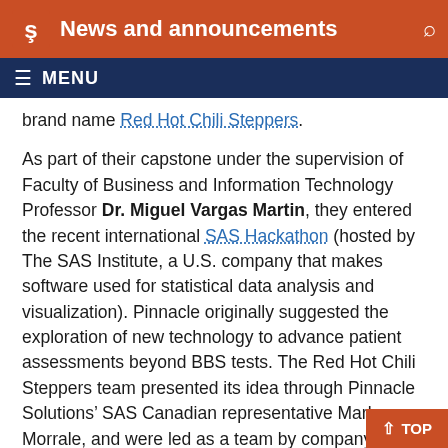News and announcements
brand name Red Hot Chili Steppers.
As part of their capstone under the supervision of Faculty of Business and Information Technology Professor Dr. Miguel Vargas Martin, they entered the recent international SAS Hackathon (hosted by The SAS Institute, a U.S. company that makes software used for statistical data analysis and visualization). Pinnacle originally suggested the exploration of new technology to advance patient assessments beyond BBS tests. The Red Hot Chili Steppers team presented its idea through Pinnacle Solutions’ SAS Canadian representative Mark Morrale, and were led as a team by company President and CEO Donald Penix.
If you haven’t heard of a ‘hackathon’, they